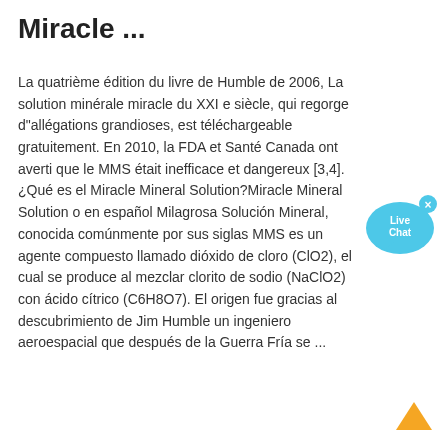Miracle ...
La quatrième édition du livre de Humble de 2006, La solution minérale miracle du XXI e siècle, qui regorge d"allégations grandioses, est téléchargeable gratuitement. En 2010, la FDA et Santé Canada ont averti que le MMS était inefficace et dangereux [3,4].¿Qué es el Miracle Mineral Solution?Miracle Mineral Solution o en español Milagrosa Solución Mineral, conocida comúnmente por sus siglas MMS es un agente compuesto llamado dióxido de cloro (ClO2), el cual se produce al mezclar clorito de sodio (NaClO2) con ácido cítrico (C6H8O7). El origen fue gracias al descubrimiento de Jim Humble un ingeniero aeroespacial que después de la Guerra Fría se ...
[Figure (illustration): Live Chat button bubble in blue with an 'x' close button in the top right corner]
[Figure (illustration): Back to top arrow icon in orange/yellow pointing upward]